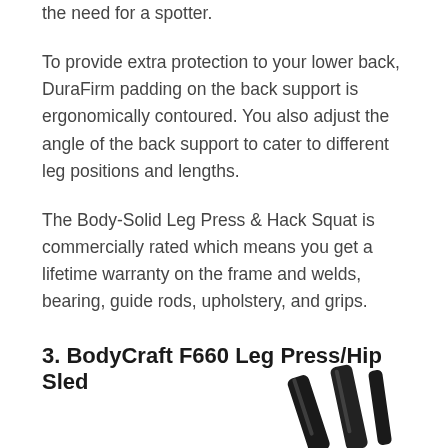the need for a spotter.
To provide extra protection to your lower back, DuraFirm padding on the back support is ergonomically contoured. You also adjust the angle of the back support to cater to different leg positions and lengths.
The Body-Solid Leg Press & Hack Squat is commercially rated which means you get a lifetime warranty on the frame and welds, bearing, guide rods, upholstery, and grips.
3. BodyCraft F660 Leg Press/Hip Sled
[Figure (photo): Partial image of the BodyCraft F660 Leg Press/Hip Sled machine showing dark metal components including bars or rods, cropped at the bottom of the page.]